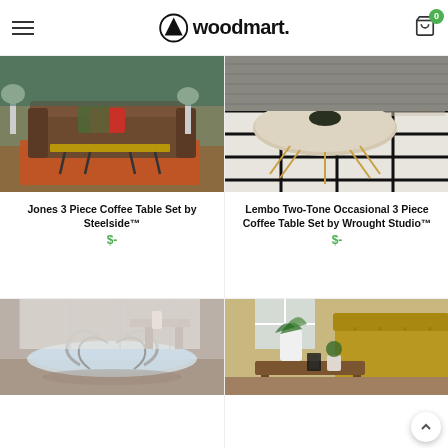woodmart.
[Figure (photo): Jones 3 Piece Coffee Table Set by Steelside - living room with brown sofa and hairpin leg coffee table on orange rug]
Jones 3 Piece Coffee Table Set by Steelside™
$-
[Figure (photo): Lembo Two-Tone Occasional 3 Piece Coffee Table Set by Wrought Studio - round marble-top table with metal legs on black and white rug]
Lembo Two-Tone Occasional 3 Piece Coffee Table Set by Wrought Studio™
$-
[Figure (photo): Glass round coffee table with chrome scroll legs on wooden floor]
[Figure (photo): Wooden coffee table with plant and lantern, yellow tufted sofa in background]